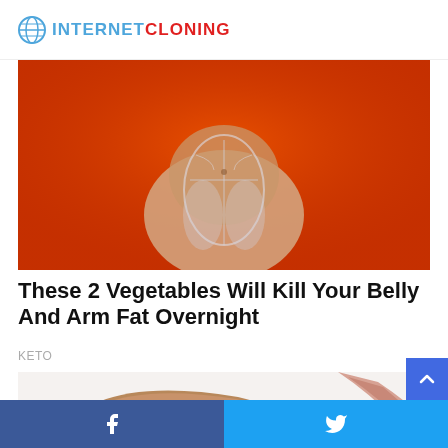INTERNET CLONING
[Figure (photo): Medical illustration of a human body showing skeletal/muscular structure against an orange background, depicting body fat]
These 2 Vegetables Will Kill Your Belly And Arm Fat Overnight
KETO
[Figure (photo): Close-up of a piece of whole grain bread being pricked with a pin or needle against a white background]